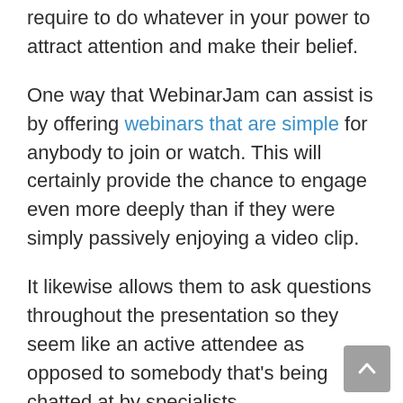require to do whatever in your power to attract attention and make their belief.
One way that WebinarJam can assist is by offering webinars that are simple for anybody to join or watch. This will certainly provide the chance to engage even more deeply than if they were simply passively enjoying a video clip.
It likewise allows them to ask questions throughout the presentation so they seem like an active attendee as opposed to somebody that’s being chatted at by specialists.
WebinarJam system uses useful functions such as polls or studies which enhance